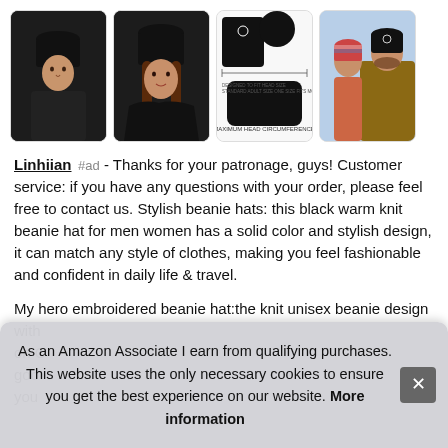[Figure (photo): Four product images of black beanie hats: man wearing black beanie, woman wearing black beanie, sizing chart diagram, and family photo in winter with someone wearing a beanie.]
Linhiian #ad - Thanks for your patronage, guys! Customer service: if you have any questions with your order, please feel free to contact us. Stylish beanie hats: this black warm knit beanie hat for men women has a solid color and stylish design, it can match any style of clothes, making you feel fashionable and confident in daily life & travel.
My hero embroidered beanie hat:the knit unisex beanie design with ...
As an Amazon Associate I earn from qualifying purchases. This website uses the only necessary cookies to ensure you get the best experience on our website. More information